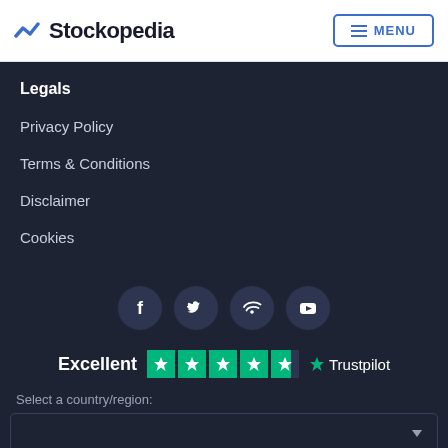Stockopedia | MENU
Legals
Privacy Policy
Terms & Conditions
Disclaimer
Cookies
[Figure (infographic): Social media icons: Facebook, Twitter, Spotify/RSS, YouTube on dark circular backgrounds]
[Figure (infographic): Trustpilot rating: Excellent with 4.5 green stars and Trustpilot logo]
Select a country/region:
[Figure (other): Country/region dropdown selector]